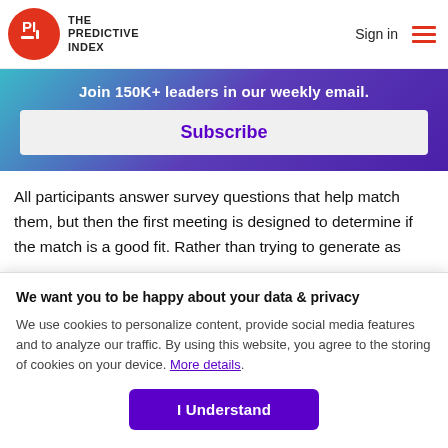THE PREDICTIVE INDEX — Sign in
Join 150K+ leaders in our weekly email.
Subscribe
All participants answer survey questions that help match them, but then the first meeting is designed to determine if the match is a good fit. Rather than trying to generate as
We want you to be happy about your data & privacy
We use cookies to personalize content, provide social media features and to analyze our traffic. By using this website, you agree to the storing of cookies on your device. More details.
I Understand